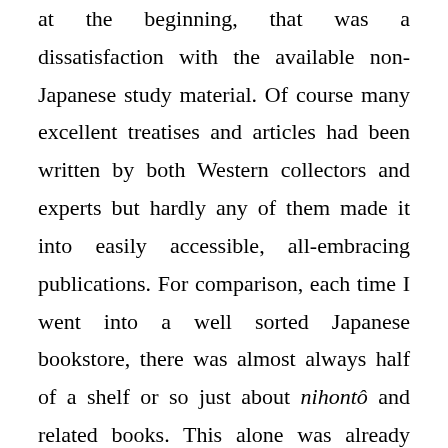at the beginning, that was a dissatisfaction with the available non-Japanese study material. Of course many excellent treatises and articles had been written by both Western collectors and experts but hardly any of them made it into easily accessible, all-embracing publications. For comparison, each time I went into a well sorted Japanese bookstore, there was almost always half of a shelf or so just about nihontô and related books. This alone was already pretty awesome but when visiting antiquarian or second hand, or better, specialized bookshops, it was like being in a researchers heaven. All you ever wanted to know and much more was just sitting there, waiting to be read (and translated). And now my studying of the